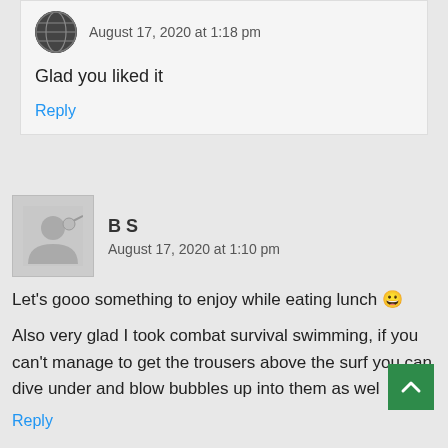August 17, 2020 at 1:18 pm
Glad you liked it
Reply
B S
August 17, 2020 at 1:10 pm
Let's gooo something to enjoy while eating lunch 😀
Also very glad I took combat survival swimming, if you can't manage to get the trousers above the surf you can dive under and blow bubbles up into them as well
Reply